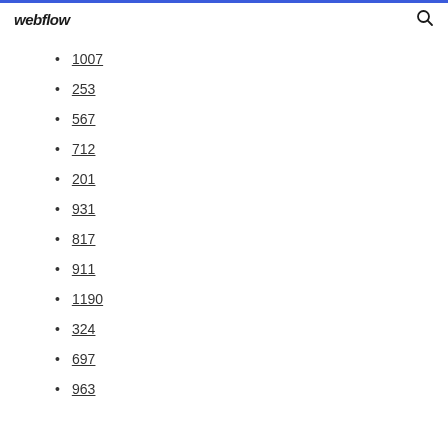webflow
1007
253
567
712
201
931
817
911
1190
324
697
963